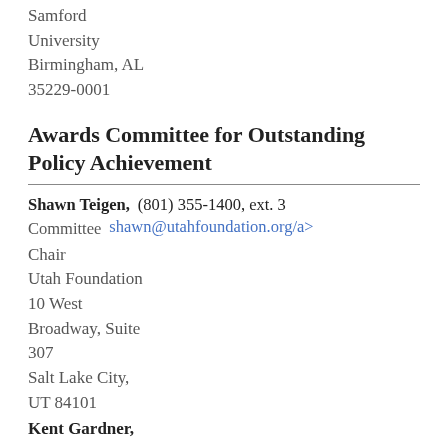Samford University
Birmingham, AL
35229-0001
Awards Committee for Outstanding Policy Achievement
Shawn Teigen, Committee Chair
(801) 355-1400, ext. 3
shawn@utahfoundation.org/a>
Utah Foundation
10 West Broadway, Suite 307
Salt Lake City, UT 84101
Kent Gardner,